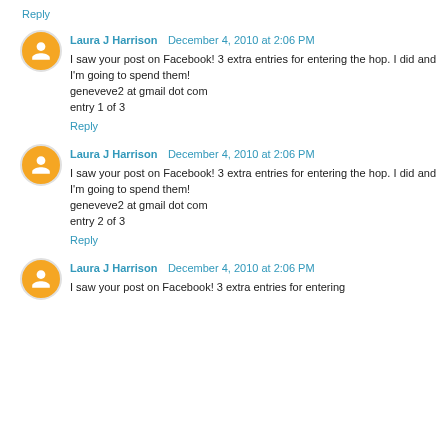Reply
Laura J Harrison  December 4, 2010 at 2:06 PM
I saw your post on Facebook! 3 extra entries for entering the hop. I did and I'm going to spend them!
geneveve2 at gmail dot com
entry 1 of 3
Reply
Laura J Harrison  December 4, 2010 at 2:06 PM
I saw your post on Facebook! 3 extra entries for entering the hop. I did and I'm going to spend them!
geneveve2 at gmail dot com
entry 2 of 3
Reply
Laura J Harrison  December 4, 2010 at 2:06 PM
I saw your post on Facebook! 3 extra entries for entering